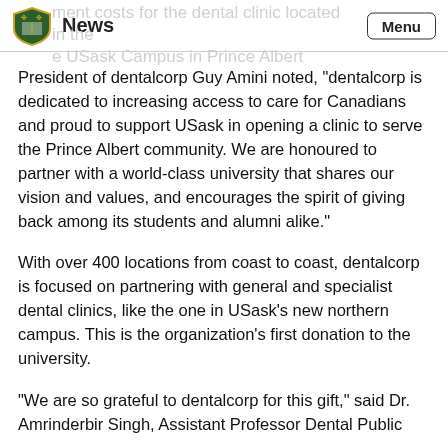News | Menu
President of dentalcorp Guy Amini noted, “dentalcorp is dedicated to increasing access to care for Canadians and proud to support USask in opening a clinic to serve the Prince Albert community. We are honoured to partner with a world-class university that shares our vision and values, and encourages the spirit of giving back among its students and alumni alike.”
With over 400 locations from coast to coast, dentalcorp is focused on partnering with general and specialist dental clinics, like the one in USask’s new northern campus. This is the organization’s first donation to the university.
“We are so grateful to dentalcorp for this gift,” said Dr. Amrinderbir Singh, Assistant Professor Dental Public